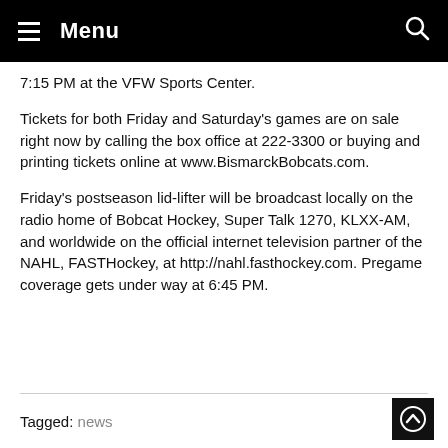Menu
7:15 PM at the VFW Sports Center.
Tickets for both Friday and Saturday's games are on sale right now by calling the box office at 222-3300 or buying and printing tickets online at www.BismarckBobcats.com.
Friday's postseason lid-lifter will be broadcast locally on the radio home of Bobcat Hockey, Super Talk 1270, KLXX-AM, and worldwide on the official internet television partner of the NAHL, FASTHockey, at http://nahl.fasthockey.com. Pregame coverage gets under way at 6:45 PM.
Tagged: news